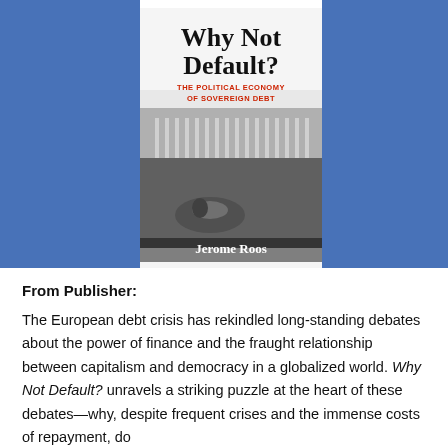[Figure (illustration): Book cover of 'Why Not Default? The Political Economy of Sovereign Debt' by Jerome Roos. Blue background flanking a center book cover image. Title 'Why Not Default?' in large black serif text, subtitle 'THE POLITICAL ECONOMY OF SOVEREIGN DEBT' in red uppercase text, black-and-white photo of protesters near a fountain with a neoclassical building in background, author name 'Jerome Roos' at bottom in white text on the photo.]
From Publisher:
The European debt crisis has rekindled long-standing debates about the power of finance and the fraught relationship between capitalism and democracy in a globalized world. Why Not Default? unravels a striking puzzle at the heart of these debates—why, despite frequent crises and the immense costs of repayment, do